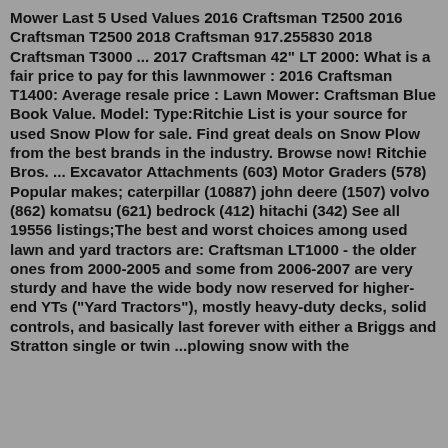Mower Last 5 Used Values 2016 Craftsman T2500 2016 Craftsman T2500 2018 Craftsman 917.255830 2018 Craftsman T3000 ... 2017 Craftsman 42" LT 2000: What is a fair price to pay for this lawnmower : 2016 Craftsman T1400: Average resale price : Lawn Mower: Craftsman Blue Book Value. Model: Type:Ritchie List is your source for used Snow Plow for sale. Find great deals on Snow Plow from the best brands in the industry. Browse now! Ritchie Bros. ... Excavator Attachments (603) Motor Graders (578) Popular makes; caterpillar (10887) john deere (1507) volvo (862) komatsu (621) bedrock (412) hitachi (342) See all 19556 listings;The best and worst choices among used lawn and yard tractors are: Craftsman LT1000 - the older ones from 2000-2005 and some from 2006-2007 are very sturdy and have the wide body now reserved for higher-end YTs ("Yard Tractors"), mostly heavy-duty decks, solid controls, and basically last forever with either a Briggs and Stratton single or twin ...plowing snow with the